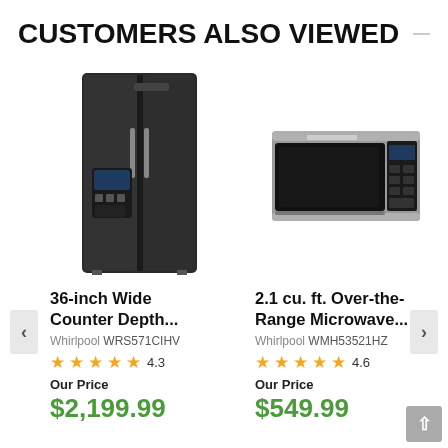CUSTOMERS ALSO VIEWED
[Figure (photo): Whirlpool 36-inch wide counter depth side-by-side refrigerator in black stainless steel]
36-inch Wide Counter Depth...
Whirlpool WRS571CIHV
4.3 stars, rating 4.3
Our Price $2,199.99
[Figure (photo): Whirlpool 2.1 cu. ft. Over-the-Range Microwave in stainless steel]
2.1 cu. ft. Over-the-Range Microwave...
Whirlpool WMH53521HZ
4.6 stars, rating 4.6
Our Price $549.99